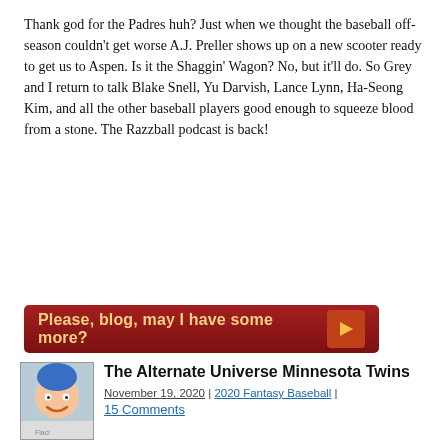Thank god for the Padres huh? Just when we thought the baseball off-season couldn't get worse A.J. Preller shows up on a new scooter ready to get us to Aspen. Is it the Shaggin' Wagon? No, but it'll do. So Grey and I return to talk Blake Snell, Yu Darvish, Lance Lynn, Ha-Seong Kim, and all the other baseball players good enough to squeeze blood from a stone. The Razzball podcast is back!
[Figure (other): Dark red button with gold text: 'Please, blog, may I have some more?' with orange arrow icon on right]
[Figure (illustration): Small avatar illustration of cartoon character with blue hair]
The Alternate Universe Minnesota Twins
November 19, 2020 | 2020 Fantasy Baseball | 15 Comments
by: everywhereblair
[Figure (other): Freestar icon (triangle/funnel shape)]
[Figure (screenshot): Advertisement banner: Tailored ad management solutions for every publisher — FREESTAR — LEARN MORE button]
Inspired ... ls, combine ... The